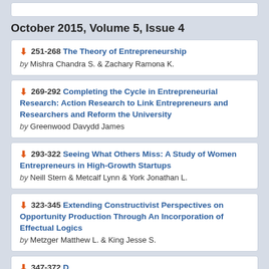October 2015, Volume 5, Issue 4
251-268 The Theory of Entrepreneurship by Mishra Chandra S. & Zachary Ramona K.
269-292 Completing the Cycle in Entrepreneurial Research: Action Research to Link Entrepreneurs and Researchers and Reform the University by Greenwood Davydd James
293-322 Seeing What Others Miss: A Study of Women Entrepreneurs in High-Growth Startups by Neill Stern & Metcalf Lynn & York Jonathan L.
323-345 Extending Constructivist Perspectives on Opportunity Production Through An Incorporation of Effectual Logics by Metzger Matthew L. & King Jesse S.
347-372 ...